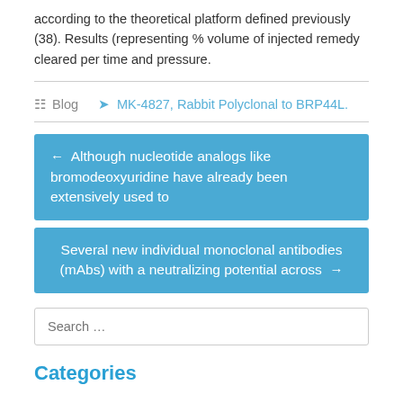according to the theoretical platform defined previously (38). Results (representing % volume of injected remedy cleared per time and pressure.
Blog   MK-4827, Rabbit Polyclonal to BRP44L.
← Although nucleotide analogs like bromodeoxyuridine have already been extensively used to
Several new individual monoclonal antibodies (mAbs) with a neutralizing potential across →
Search …
Categories